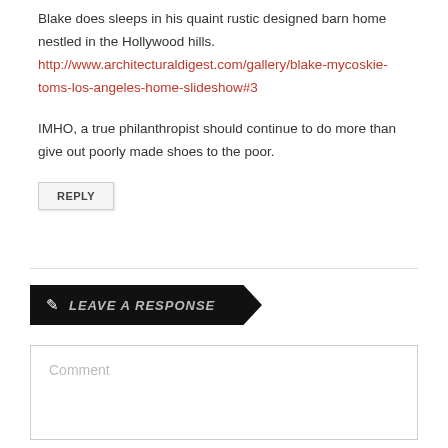Blake does sleeps in his quaint rustic designed barn home nestled in the Hollywood hills. http://www.architecturaldigest.com/gallery/blake-mycoskie-toms-los-angeles-home-slideshow#3
IMHO, a true philanthropist should continue to do more than give out poorly made shoes to the poor.
REPLY
LEAVE A RESPONSE
Comment